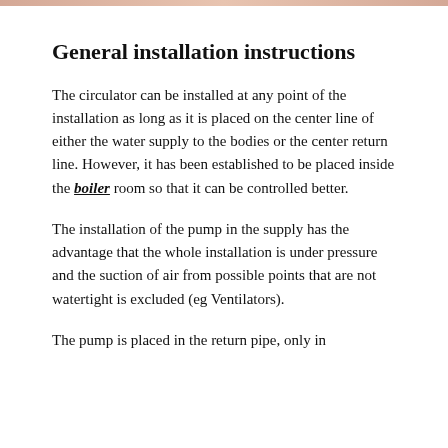General installation instructions
The circulator can be installed at any point of the installation as long as it is placed on the center line of either the water supply to the bodies or the center return line. However, it has been established to be placed inside the boiler room so that it can be controlled better.
The installation of the pump in the supply has the advantage that the whole installation is under pressure and the suction of air from possible points that are not watertight is excluded (eg Ventilators).
The pump is placed in the return pipe, only in